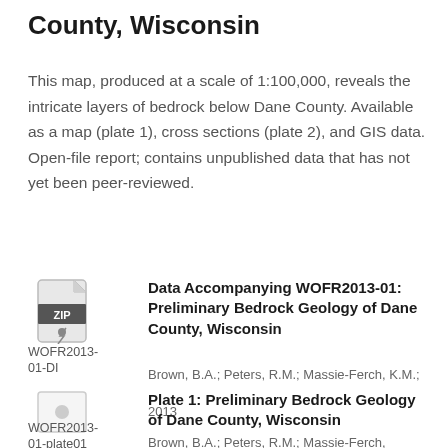County, Wisconsin
This map, produced at a scale of 1:100,000, reveals the intricate layers of bedrock below Dane County. Available as a map (plate 1), cross sections (plate 2), and GIS data. Open-file report; contains unpublished data that has not yet been peer-reviewed.
[Figure (other): ZIP file icon]
WOFR2013-01-DI
Data Accompanying WOFR2013-01: Preliminary Bedrock Geology of Dane County, Wisconsin
Brown, B.A.; Peters, R.M.; Massie-Ferch, K.M.;
2013
[Figure (other): Document/plate icon thumbnail]
WOFR2013-01-plate01
Plate 1: Preliminary Bedrock Geology of Dane County, Wisconsin
Brown, B.A.; Peters, R.M.; Massie-Ferch,